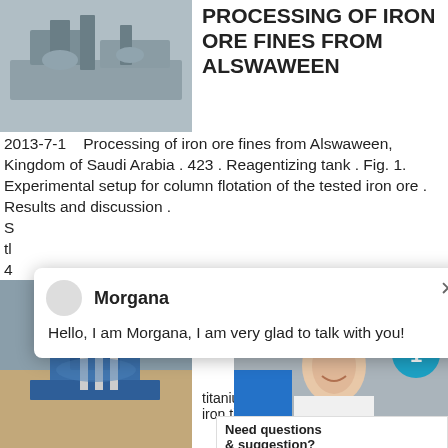[Figure (photo): Aerial/overhead view of industrial iron ore processing machinery and equipment outdoors]
PROCESSING OF IRON ORE FINES FROM ALSWAWEEN
2013-7-1   Processing of iron ore fines from Alswaween, Kingdom of Saudi Arabia . 423 . Reagentizing tank . Fig. 1. Experimental setup for column flotation of the tested iron ore . Results and discussion . S         tl         4
[Figure (screenshot): Chat popup with avatar for Morgana saying: Hello, I am Morgana, I am very glad to talk with you!]
Morgana
Hello, I am Morgana, I am very glad to talk with you!
[Figure (photo): Iron ore separation machinery, industrial mining equipment in sandy/earthy setting]
iron ore separa silica sand
titanium mine iron tin ore m
[Figure (photo): Customer support representative (smiling woman with headset) with blue box, badge showing 1, and support widget]
Need questions & suggestion?
Chat Now
Enquire